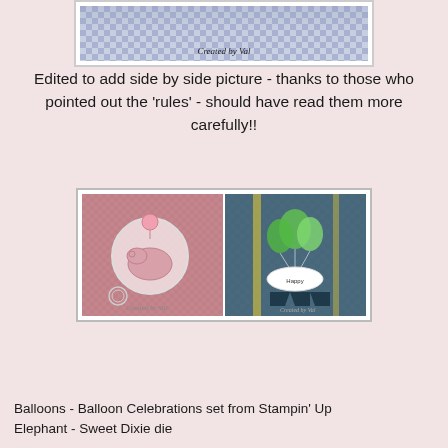[Figure (photo): Partial view of a handmade card with blue/purple checkered pattern and cursive 'Created by Val' text at the bottom]
Edited to add side by side picture - thanks to those who pointed out the 'rules' - should have read them more carefully!!
[Figure (photo): Two handmade cards side by side: left card has pink background with elephant die cut and balloon, right card has dark teal/blue checkered background with green balloons and a white label]
Balloons - Balloon Celebrations set from Stampin' Up
Elephant - Sweet Dixie die